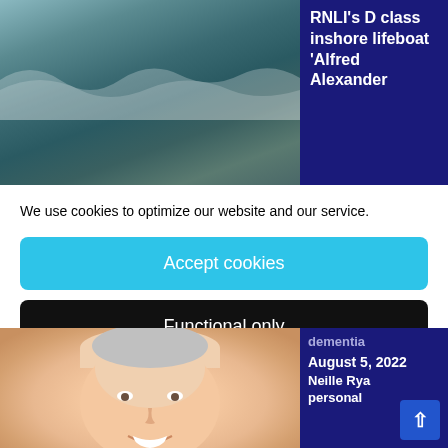[Figure (photo): Aerial or water-level photo of ocean waves with white foam, green-blue sea water]
RNLI's D class inshore lifeboat 'Alfred Alexander
We use cookies to optimize our website and our service.
Accept cookies
Functional only
View preferences
[Figure (photo): Close-up photo of a smiling older man's face]
dementia August 5, 2022 Neille Rya personal